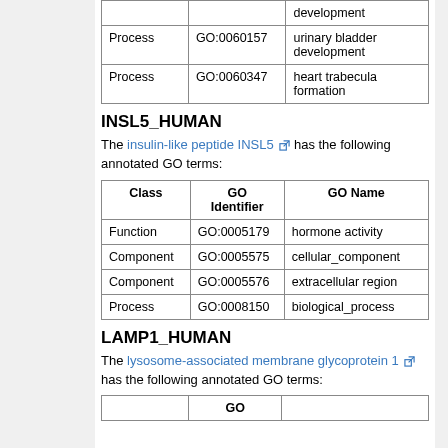| Class | GO Identifier | GO Name |
| --- | --- | --- |
|  |  | development |
| Process | GO:0060157 | urinary bladder development |
| Process | GO:0060347 | heart trabecula formation |
INSL5_HUMAN
The insulin-like peptide INSL5 has the following annotated GO terms:
| Class | GO Identifier | GO Name |
| --- | --- | --- |
| Function | GO:0005179 | hormone activity |
| Component | GO:0005575 | cellular_component |
| Component | GO:0005576 | extracellular region |
| Process | GO:0008150 | biological_process |
LAMP1_HUMAN
The lysosome-associated membrane glycoprotein 1 has the following annotated GO terms:
|  | GO |  |
| --- | --- | --- |